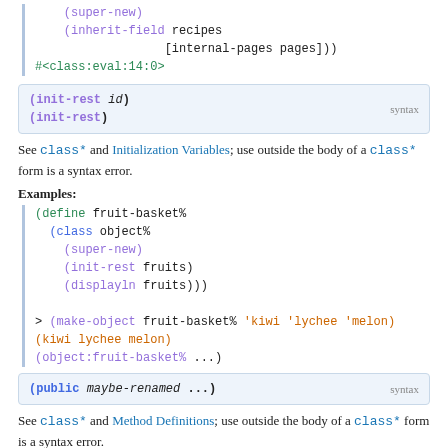[Figure (screenshot): Code block showing (super-new), (inherit-field recipes [internal-pages pages])) and #<class:eval:14:0>]
See class* and Initialization Variables; use outside the body of a class* form is a syntax error.
Examples:
[Figure (screenshot): Code block showing define fruit-basket%, class, super-new, init-rest fruits, displayln fruits, make-object, kiwi lychee melon, object:fruit-basket%]
See class* and Method Definitions; use outside the body of a class* form is a syntax error.